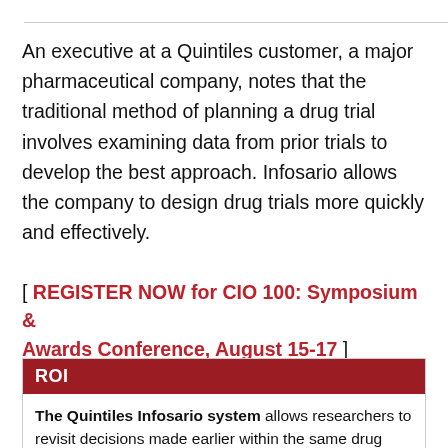An executive at a Quintiles customer, a major pharmaceutical company, notes that the traditional method of planning a drug trial involves examining data from prior trials to develop the best approach. Infosario allows the company to design drug trials more quickly and effectively.
[ REGISTER NOW for CIO 100: Symposium & Awards Conference, August 15-17 ]
ROI
The Quintiles Infosario system allows researchers to revisit decisions made earlier within the same drug trial. That's a big benefit, says Quintiles CIO